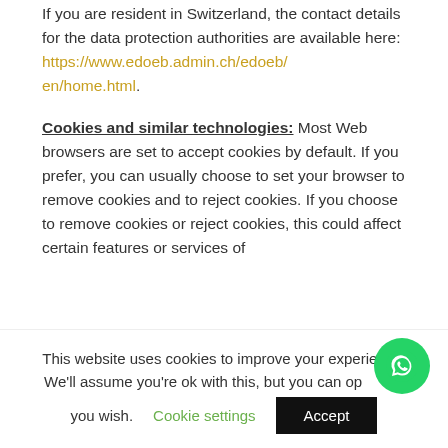If you are resident in Switzerland, the contact details for the data protection authorities are available here: https://www.edoeb.admin.ch/edoeb/en/home.html.
Cookies and similar technologies: Most Web browsers are set to accept cookies by default. If you prefer, you can usually choose to set your browser to remove cookies and to reject cookies. If you choose to remove cookies or reject cookies, this could affect certain features or services of
This website uses cookies to improve your experience. We'll assume you're ok with this, but you can opt-out if you wish.
Cookie settings
Accept